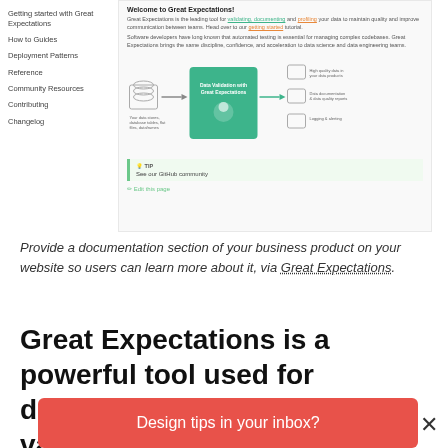Getting started with Great Expectations
How to Guides
Deployment Patterns
Reference
Community Resources
Contributing
Changelog
[Figure (screenshot): Screenshot of Great Expectations documentation website showing welcome text, a workflow diagram of data validation, and a TIP callout box saying 'See our GitHub community']
Provide a documentation section of your business product on your website so users can learn more about it, via Great Expectations.
Great Expectations is a powerful tool used for documenting, profiling, and validating data.
Design tips in your inbox?